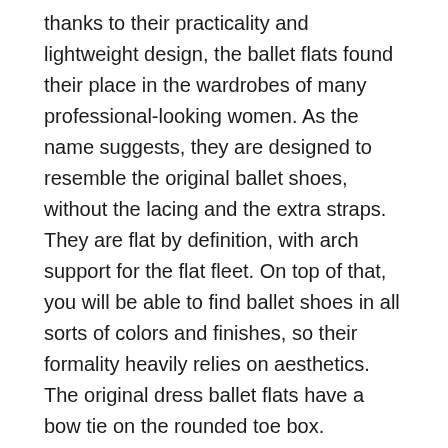thanks to their practicality and lightweight design, the ballet flats found their place in the wardrobes of many professional-looking women. As the name suggests, they are designed to resemble the original ballet shoes, without the lacing and the extra straps. They are flat by definition, with arch support for the flat fleet. On top of that, you will be able to find ballet shoes in all sorts of colors and finishes, so their formality heavily relies on aesthetics. The original dress ballet flats have a bow tie on the rounded toe box.
2.4. Sandals
On the formality scale, sandals are on the edge